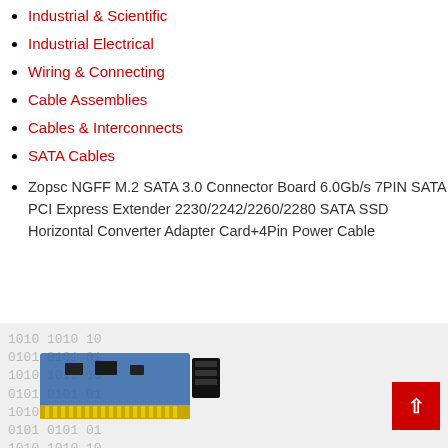Industrial & Scientific
Industrial Electrical
Wiring & Connecting
Cable Assemblies
Cables & Interconnects
SATA Cables
Zopsc NGFF M.2 SATA 3.0 Connector Board 6.0Gb/s 7PIN SATA PCI Express Extender 2230/2242/2260/2280 SATA SSD Horizontal Converter Adapter Card+4Pin Power Cable
[Figure (photo): Close-up photo of an M.2 SATA connector board/card with gold PCIe edge connector and a black SATA connector, placed on a surface with binary/circuit digit patterns in background. Red back-to-top button visible in bottom right corner.]